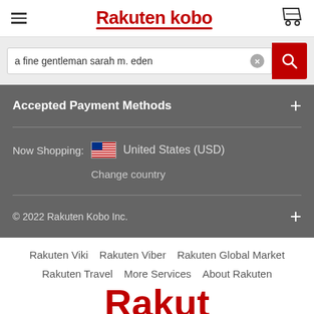Rakuten kobo
a fine gentleman sarah m. eden
Accepted Payment Methods
Now Shopping:  United States (USD)
Change country
© 2022 Rakuten Kobo Inc.
Rakuten Viki   Rakuten Viber   Rakuten Global Market
Rakuten Travel   More Services   About Rakuten
[Figure (logo): Rakuten red logo partial text at bottom of page]